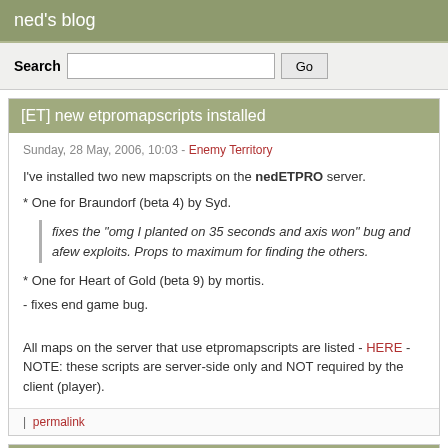ned's blog
Search [input] Go
[ET] new etpromapscripts installed
Sunday, 28 May, 2006, 10:03 - Enemy Territory
I've installed two new mapscripts on the nedETPRO server.
* One for Braundorf (beta 4) by Syd.
fixes the "omg I planted on 35 seconds and axis won" bug and afew exploits. Props to maximum for finding the others.
* One for Heart of Gold (beta 9) by mortis.
- fixes end game bug.
All maps on the server that use etpromapscripts are listed - HERE - NOTE: these scripts are server-side only and NOT required by the client (player).
| permalink
[PF] server details in forum
Saturday, 27 May, 2006, 14:23 - Pacific Fighters